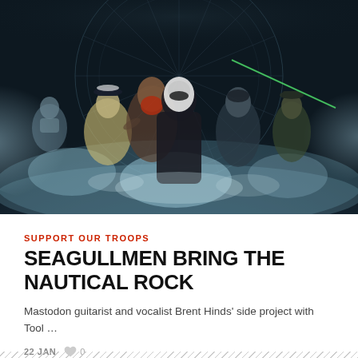[Figure (photo): Band promotional photo of Seagullmen — multiple band members in nautical/military costumes (captain's hat, wetsuit, diving gear) wading through stormy ocean water with dramatic lighting and dark teal/blue tones. Ornate circular design visible in background.]
SUPPORT OUR TROOPS
SEAGULLMEN BRING THE NAUTICAL ROCK
Mastodon guitarist and vocalist Brent Hinds' side project with Tool …
22 JAN  ♥ 0